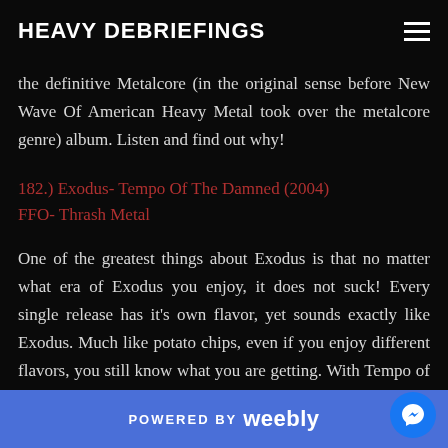HEAVY DEBRIEFINGS
the definitive Metalcore (in the original sense before New Wave Of American Heavy Metal took over the metalcore genre) album. Listen and find out why!
182.) Exodus- Tempo Of The Damned (2004)
FFO- Thrash Metal
One of the greatest things about Exodus is that no matter what era of Exodus you enjoy, it does not suck! Every single release has it's own flavor, yet sounds exactly like Exodus. Much like potato chips, even if you enjoy different flavors, you still know what you are getting. With Tempo of The Damned, it's the perfect post 9/11 album, talking about tragedies, advers…
POWERED BY weebly